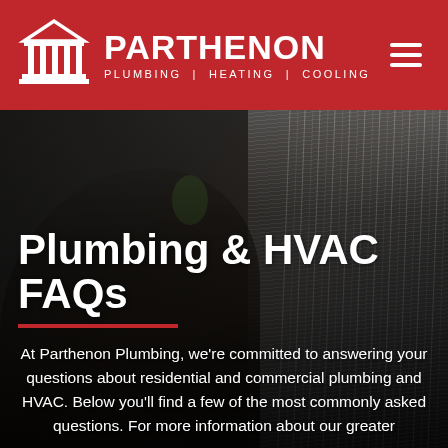[Figure (logo): Parthenon Plumbing, Heating, Cooling logo with red header background, white building/column icon, bold white PARTHENON text, tagline PLUMBING | HEATING | COOLING, and hamburger menu icon]
[Figure (photo): Dark background hero photo showing a person looking up while on a phone, with water falling/raining in the background on the right side]
Plumbing & HVAC FAQs
At Parthenon Plumbing, we're committed to answering your questions about residential and commercial plumbing and HVAC. Below you'll find a few of the most commonly asked questions. For more information about our greater